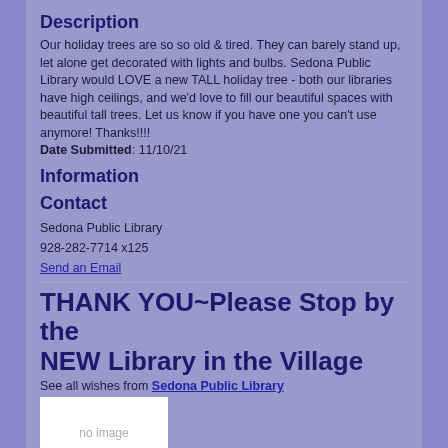Description
Our holiday trees are so so old & tired. They can barely stand up, let alone get decorated with lights and bulbs. Sedona Public Library would LOVE a new TALL holiday tree - both our libraries have high ceilings, and we'd love to fill our beautiful spaces with beautiful tall trees. Let us know if you have one you can't use anymore! Thanks!!!!
Date Submitted: 11/10/21
Information
Contact
Sedona Public Library
928-282-7714 x125
Send an Email
THANK YOU~Please Stop by the NEW Library in the Village
See all wishes from Sedona Public Library
[Figure (other): no image placeholder box]
Description